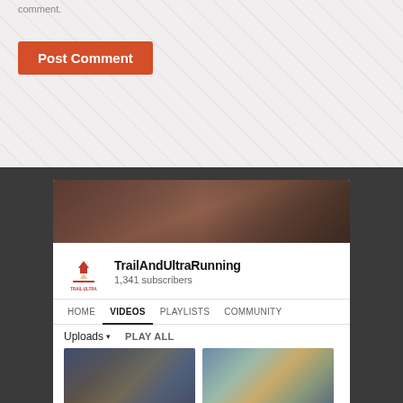comment.
Post Comment
[Figure (screenshot): YouTube channel page for TrailAndUltraRunning showing channel banner with canyon background, channel logo (Trail Ultra), channel name 'TrailAndUltraRunning', 1,341 subscribers, navigation tabs (HOME, VIDEOS selected, PLAYLISTS, COMMUNITY), Uploads dropdown, PLAY ALL button, and two video thumbnails with durations 2:59 and 9:38]
Andre Half Marathon ...    2019 Wasatch Mountain ...